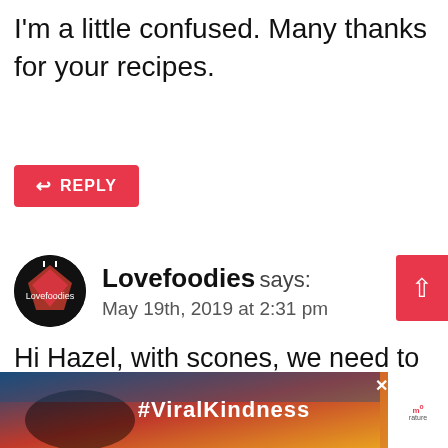I'm a little confused. Many thanks for your recipes.
REPLY
Lovefoodies says:
May 19th, 2019 at 2:31 pm
Hi Hazel, with scones, we need to keep everything as warm as possible so, the milk and the baking tray are preheated which helps with them rising and fluffier texture. It helps once they're in th... to w... rature
[Figure (infographic): ViralKindness ad banner with hands forming heart shape, hashtag #ViralKindness]
WHAT'S NEXT → Traditional Homemade...